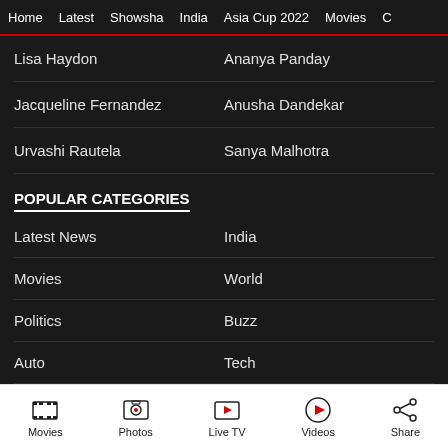Home | Latest | Showsha | India | Asia Cup 2022 | Movies | C
Lisa Haydon
Ananya Panday
Jacqueline Fernandez
Anusha Dandekar
Urvashi Rautela
Sanya Malhotra
POPULAR CATEGORIES
Latest News
India
Movies
World
Politics
Buzz
Auto
Tech
Videos
Photos
Movies | Photos | Live TV | Videos | Share